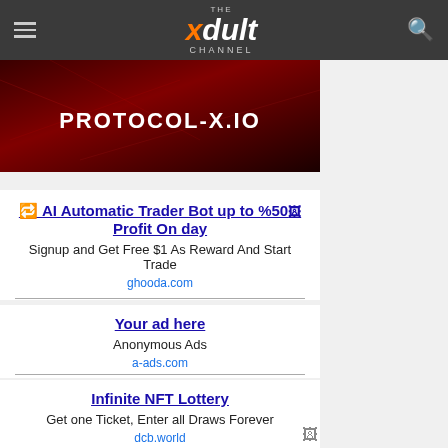THE xDult CHANNEL
[Figure (screenshot): Dark red banner with text PROTOCOL-X.IO in white bold letters]
🔁 AI Automatic Trader Bot up to %50 Profit On day
Signup and Get Free $1 As Reward And Start Trade
ghooda.com
Your ad here
Anonymous Ads
a-ads.com
Infinite NFT Lottery
Get one Ticket, Enter all Draws Forever
dcb.world